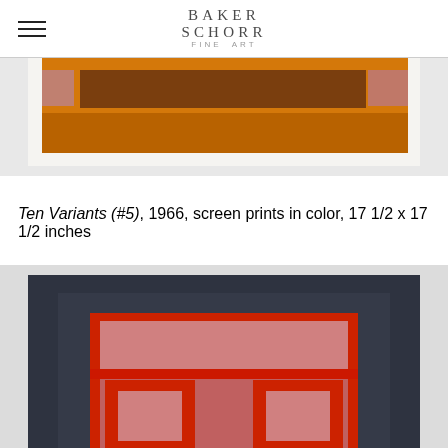BAKER SCHORR FINE ART
[Figure (photo): Partial view of a color screen print on white paper — orange/amber background with a brown horizontal rectangle and two small pink/rose squares at far left and right edges, cropped at top.]
Ten Variants (#5), 1966, screen prints in color, 17 1/2 x 17 1/2 inches
[Figure (photo): Color screen print with dark navy/charcoal outer border, nested red rectangular frames, a horizontal red band across the upper interior, two red rectangular pillar shapes with lighter pink inner rectangles at bottom center, geometric abstract composition.]